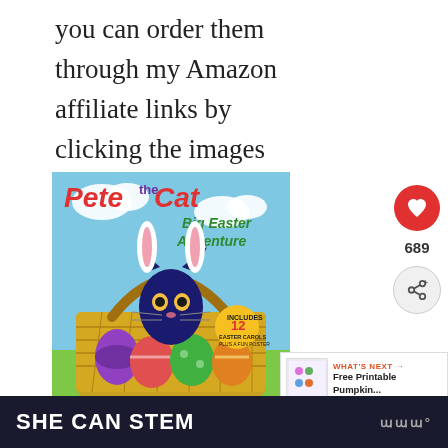you can order them through my Amazon affiliate links by clicking the images below.
[Figure (photo): Book cover: Pete the Cat Big Easter Adventure by Kimberly and James Dean. Shows Pete the Cat wearing bunny ears sitting in a yellow wicker Easter basket filled with colorful Easter eggs. Includes 12 Easter carols and a poster badge shown.]
[Figure (photo): Book cover partial view: How to Catch the... (Easter Bunny implied) with yellow background and purple lettering]
[Figure (other): Heart/like button showing 689 likes and share button on sidebar]
[Figure (other): What's Next panel: Free Printable Pumpkin...]
SHE CAN STEM